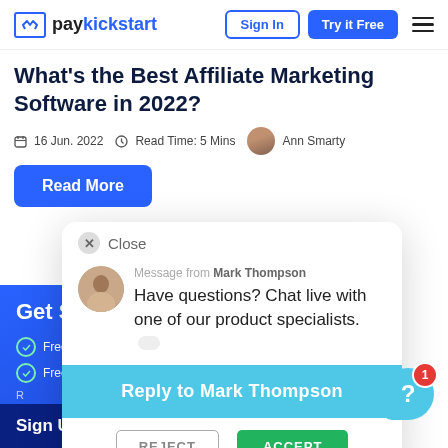paykickstart — Sign In | Try it Free
What's the Best Affiliate Marketing Software in 2022?
16 Jun. 2022   Read Time: 5 Mins   Ann Smarty
Read More
[Figure (screenshot): Chat popup from Mark Thompson: 'Have questions? Chat live with one of our product specialists.' with Reply, Reject, and Accept buttons. Background shows a PayKickstart promotional card with 'Get Sto...' text and free trial items.]